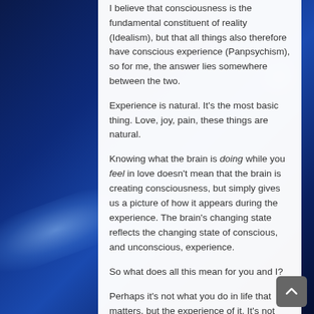I believe that consciousness is the fundamental constituent of reality (Idealism), but that all things also therefore have conscious experience (Panpsychism), so for me, the answer lies somewhere between the two.
Experience is natural. It's the most basic thing. Love, joy, pain, these things are natural.
Knowing what the brain is doing while you feel in love doesn't mean that the brain is creating consciousness, but simply gives us a picture of how it appears during the experience. The brain's changing state reflects the changing state of conscious, and unconscious, experience.
So what does all this mean for you and I?
Perhaps it's not what you do in life that matters, but the experience of it. It's not the destination that's most important, but what the journey is like.